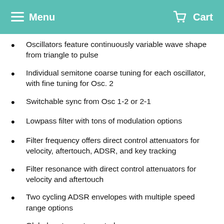Menu  Cart
Oscillators feature continuously variable wave shape from triangle to pulse
Individual semitone coarse tuning for each oscillator, with fine tuning for Osc. 2
Switchable sync from Osc 1-2 or 2-1
Lowpass filter with tons of modulation options
Filter frequency offers direct control attenuators for velocity, aftertouch, ADSR, and key tracking
Filter resonance with direct control attenuators for velocity and aftertouch
Two cycling ADSR envelopes with multiple speed range options
Global portamento control
Two LFOs with waveshape selection and dedicated AR envelopes for LFO intensity